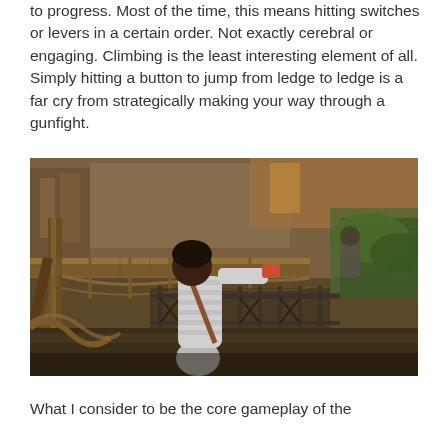to progress. Most of the time, this means hitting switches or levers in a certain order. Not exactly cerebral or engaging. Climbing is the least interesting element of all. Simply hitting a button to jump from ledge to ledge is a far cry from strategically making your way through a gunfight.
[Figure (photo): Screenshot from a video game showing a character in a grey and white striped shirt aiming a gun in a ruined ancient temple environment with wooden bridges, rope railings, stone architecture, and lush vegetation.]
What I consider to be the core gameplay of the